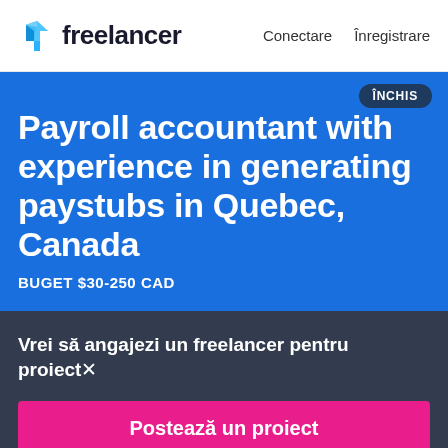freelancer  Conectare  Înregistrare
Payroll accountant with experience in generating paystubs in Quebec, Canada
BUGET $30-250 CAD
Vrei să angajezi un freelancer pentru proiect✕
Postează un proiect